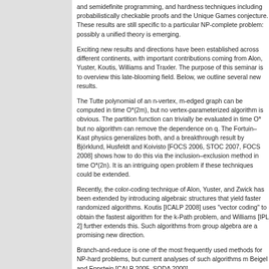and semidefinite programming, and hardness techniques including probabilistically checkable proofs and the Unique Games conjecture. These results are still specific to a particular NP-complete problem: possibly a unified theory is emerging.
Exciting new results and directions have been established across different continents, with important contributions coming from Alon, Yuster, Koutis, Williams and Traxler. The purpose of this seminar is to overview this late-blooming field. Below, we outline several new results.
The Tutte polynomial of an n-vertex, m-edged graph can be computed in time O*(2m), but no vertex-parameterized algorithm is obvious. The partition function can trivially be evaluated in time O* but no algorithm can remove the dependence on q. The Fortuin–Kasteleyn model from statistical physics generalizes both, and a breakthrough result by Björklund, Husfeldt and Koivisto [FOCS 2006, STOC 2007, FOCS 2008] shows how to do this via the inclusion–exclusion method in time O*(2n). It is an intriguing open problem if these techniques could be extended.
Recently, the color-coding technique of Alon, Yuster, and Zwick has been extended by introducing algebraic structures that yield faster randomized algorithms. Koutis [ICALP 2008] uses "vector coding" to obtain the fastest algorithm for the k-Path problem, and Williams [IPL 2] further extends this. Such algorithms from group algebra are a promising new direction.
Branch-and-reduce is one of the most frequently used methods for NP-hard problems, but current analyses of such algorithms m Beigel and Eppstein [CALP 2005, SODA 2000]